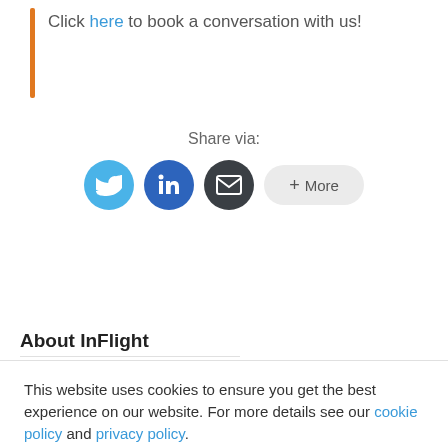Click here to book a conversation with us!
Share via:
[Figure (other): Social share buttons: Twitter, LinkedIn, Email, and More]
About InFlight
This website uses cookies to ensure you get the best experience on our website. For more details see our cookie policy and privacy policy.
Accept